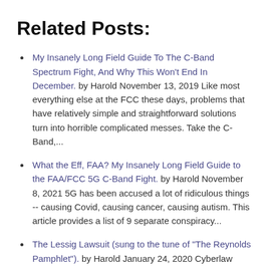Related Posts:
My Insanely Long Field Guide To The C-Band Spectrum Fight, And Why This Won't End In December. by Harold November 13, 2019 Like most everything else at the FCC these days, problems that have relatively simple and straightforward solutions turn into horrible complicated messes. Take the C-Band,...
What the Eff, FAA? My Insanely Long Field Guide to the FAA/FCC 5G C-Band Fight. by Harold November 8, 2021 5G has been accused a lot of ridiculous things -- causing Covid, causing cancer, causing autism. This article provides a list of 9 separate conspiracy...
The Lessig Lawsuit (sung to the tune of "The Reynolds Pamphlet"). by Harold January 24, 2020 Cyberlaw Twitter has been mildly abuzz recently over the news that Professor